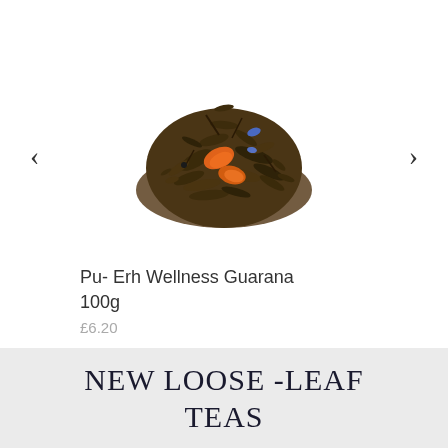[Figure (photo): A pile of loose-leaf tea with orange petals and blue cornflower pieces on a white background]
Pu- Erh Wellness Guarana 100g
£6.20
View More
NEW LOOSE -LEAF TEAS